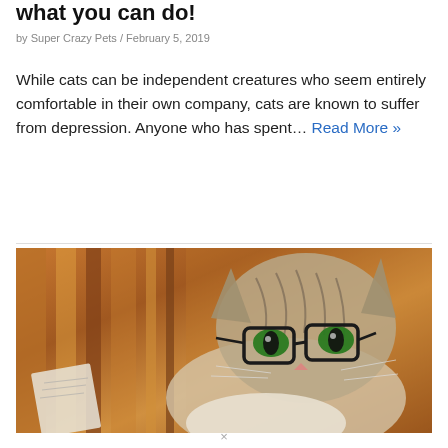what you can do!
by Super Crazy Pets / February 5, 2019
While cats can be independent creatures who seem entirely comfortable in their own company, cats are known to suffer from depression. Anyone who has spent… Read More »
[Figure (photo): A tabby cat wearing black glasses, peeking over a striped blanket or cushion, looking up at the camera with green eyes, holding what appears to be papers or a book.]